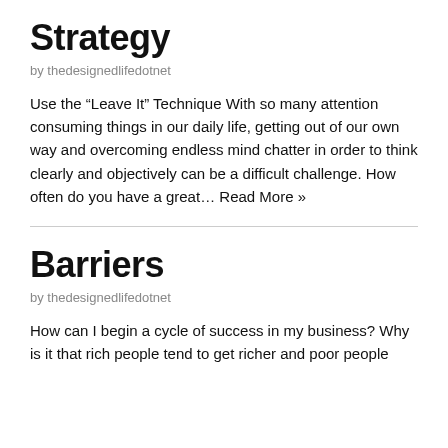Strategy
by thedesignedlifedotnet
Use the “Leave It” Technique With so many attention consuming things in our daily life, getting out of our own way and overcoming endless mind chatter in order to think clearly and objectively can be a difficult challenge. How often do you have a great… Read More »
Barriers
by thedesignedlifedotnet
How can I begin a cycle of success in my business? Why is it that rich people tend to get richer and poor people